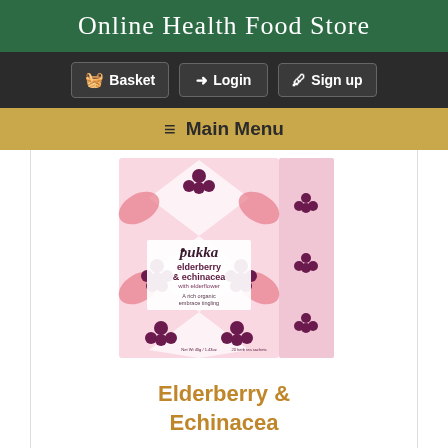Online Health Food Store
Basket | Login | Sign up
Main Menu
[Figure (photo): Pukka elderberry & echinacea tea box with pink and purple floral design, showing elderberry clusters. Text reads: pukka elderberry & echinacea with elderflower. A rich organic embrace tingling with fruity warmth. Net Wt 40g / 1.43oz. 20 herb tea sachets.]
Elderberry & Echinacea
£3.29